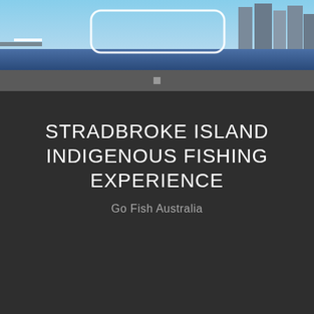[Figure (photo): Aerial or cityscape photo of Brisbane showing a bridge and city skyline, used as a website header background image.]
STRADBROKE ISLAND INDIGENOUS FISHING EXPERIENCE
Go Fish Australia